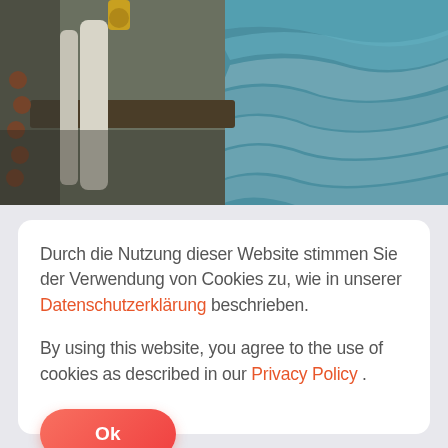[Figure (photo): Fishing boat deck railing with buoys and ropes, rough ocean waves in background, viewed from deck level]
Durch die Nutzung dieser Website stimmen Sie der Verwendung von Cookies zu, wie in unserer Datenschutzerklärung beschrieben.

By using this website, you agree to the use of cookies as described in our Privacy Policy .